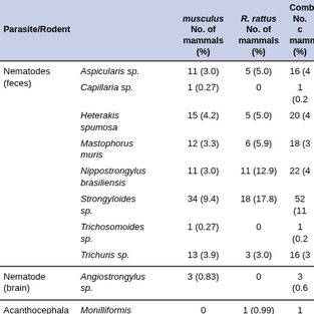| Parasite/Rodent |  | musculus No. of mammals (%) | R. rattus No. of mammals (%) | Combined No. of mammals (%) |
| --- | --- | --- | --- | --- |
| Nematodes (feces) | Aspicularis sp. | 11 (3.0) | 5 (5.0) | 16 (4… |
|  | Capillaria sp. | 1 (0.27) | 0 | 1 (0.2… |
|  | Heterakis spumosa | 15 (4.2) | 5 (5.0) | 20 (4… |
|  | Mastophorus muris | 12 (3.3) | 6 (5.9) | 18 (3… |
|  | Nippostrongylus brasiliensis | 11 (3.0) | 11 (12.9) | 22 (4… |
|  | Strongyloides sp. | 34 (9.4) | 18 (17.8) | 52 (11… |
|  | Trichosomoides sp. | 1 (0.27) | 0 | 1 (0.2… |
|  | Trichuris sp. | 13 (3.9) | 3 (3.0) | 16 (3… |
| Nematode (brain) | Angiostrongylus sp. | 3 (0.83) | 0 | 3 (0.6… |
| Acanthocephala (feces) | Monilliformis moniliformis | 0 | 1 (0.99) | 1 (0.2… |
| Cestodes (feces) | H. diminuta | 1 (0.27) | 0 | 1 (0.5… |